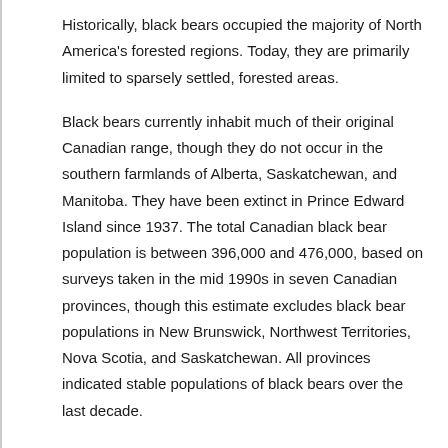Historically, black bears occupied the majority of North America's forested regions. Today, they are primarily limited to sparsely settled, forested areas.
Black bears currently inhabit much of their original Canadian range, though they do not occur in the southern farmlands of Alberta, Saskatchewan, and Manitoba. They have been extinct in Prince Edward Island since 1937. The total Canadian black bear population is between 396,000 and 476,000, based on surveys taken in the mid 1990s in seven Canadian provinces, though this estimate excludes black bear populations in New Brunswick, Northwest Territories, Nova Scotia, and Saskatchewan. All provinces indicated stable populations of black bears over the last decade.